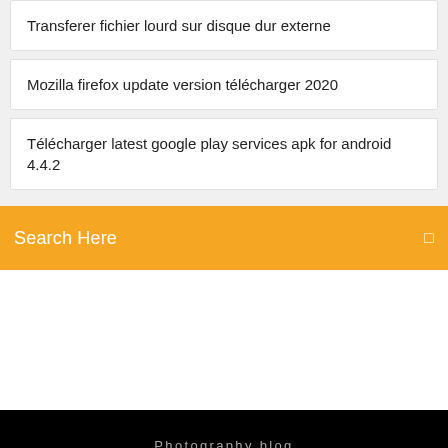Transferer fichier lourd sur disque dur externe
Mozilla firefox update version télécharger 2020
Télécharger latest google play services apk for android 4.4.2
Search Here
Photography blog
Photomedia